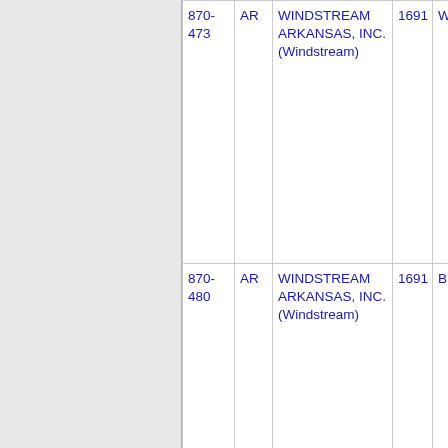| NPA | State | Carrier | Num | City |
| --- | --- | --- | --- | --- |
| 870-473 | AR | WINDSTREAM ARKANSAS, INC. (Windstream) | 1691 | WILMO... |
| 870-480 | AR | WINDSTREAM ARKANSAS, INC. (Windstream) | 1691 | BERRY... |